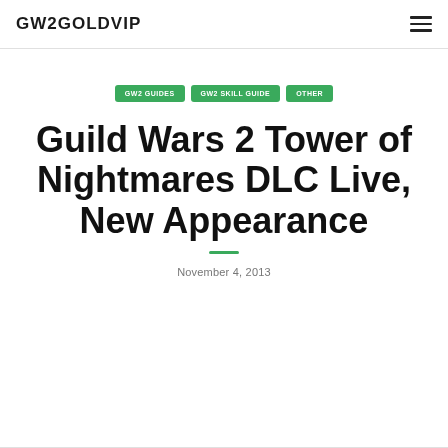GW2GOLDVIP
GW2 GUIDES
GW2 SKILL GUIDE
OTHER
Guild Wars 2 Tower of Nightmares DLC Live, New Appearance
November 4, 2013